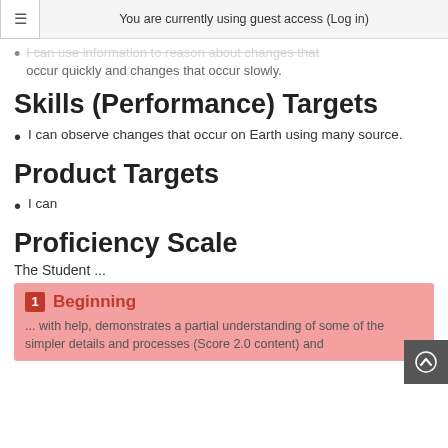You are currently using guest access (Log in)
I can use information to reason about changes that occur quickly and changes that occur slowly.
Skills (Performance) Targets
I can observe changes that occur on Earth using many source.
Product Targets
I can
Proficiency Scale
The Student ...
1 Beginning
... with help, demonstrates a partial understanding of some of the simpler details and processes (Score 2.0 content) and